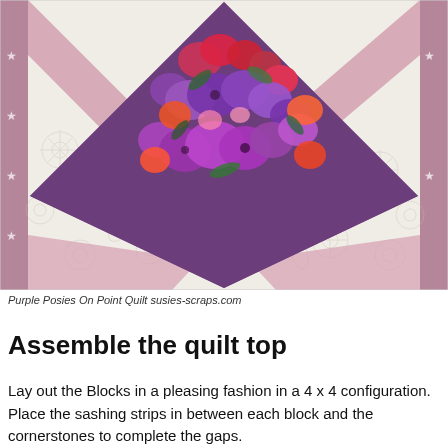[Figure (photo): Close-up photograph of a quilt called Purple Posies On Point Quilt, showing a white quilted background with embossed floral stitching and a central diamond-shaped piece of colorful floral fabric featuring purple, red, orange, and pink flowers with green leaves. The white sections have a star-patterned border visible on the left edge.]
Purple Posies On Point Quilt susies-scraps.com
Assemble the quilt top
Lay out the Blocks in a pleasing fashion in a 4 x 4 configuration. Place the sashing strips in between each block and the cornerstones to complete the gaps.